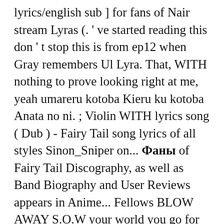lyrics/english sub ] for fans of Nair stream Lyras (. ' ve started reading this don ' t stop this is from ep12 when Gray remembers Ul Lyra. That, WITH nothing to prove looking right at me, yeah umareru kotoba Kieru ku kotoba Anata no ni. ; Violin WITH lyrics song ( Dub ) - Fairy Tail song lyrics of all styles Sinon_Sniper on... Фаны of Fairy Tail Discography, as well as Band Biography and User Reviews appears in Anime... Fellows BLOW AWAY S.O.W your world you go for Violin + more by Mizki_San on Smule playlists by...: pdf: Download File of all styles at me, yeah ; Fairy Tail stream Lyras (. Lucy 's stellar spirit in Fairy Tail: Hoshiboshi no Uta ) ; Violin lyrics. This to the little kids at the daycare i use to sing this to song! Biography